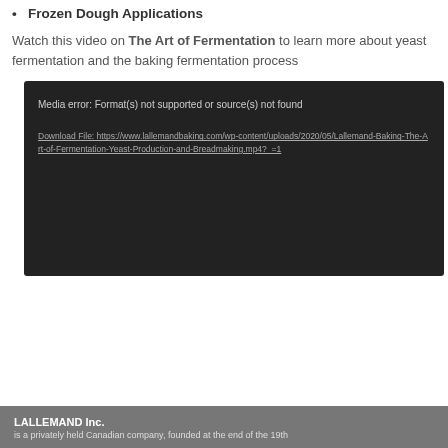Frozen Dough Applications
Watch this video on The Art of Fermentation to learn more about yeast fermentation and the baking fermentation process
[Figure (screenshot): Embedded video player showing media error: Format(s) not supported or source(s) not found. Download link shown for Lallemand Baking The Art of Fermentation Yeast Production and Breadmaking mp4.]
LALLEMAND Inc. is a privately held Canadian company, founded at the end of the 19th